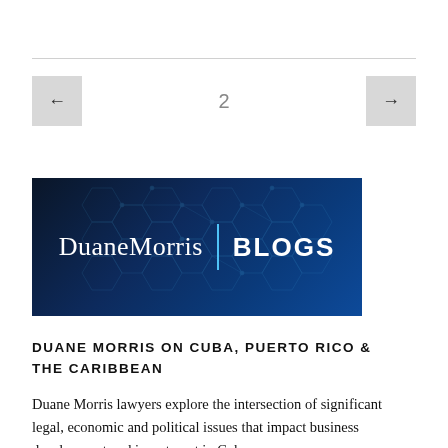[Figure (logo): Duane Morris BLOGS banner logo on dark navy blue background with hexagonal network pattern overlay]
DUANE MORRIS ON CUBA, PUERTO RICO & THE CARIBBEAN
Duane Morris lawyers explore the intersection of significant legal, economic and political issues that impact business development and investment in Cuba,